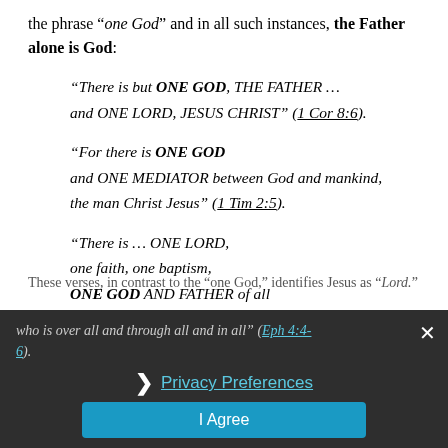the phrase “one God” and in all such instances, the Father alone is God:
“There is but ONE GOD, THE FATHER … and ONE LORD, JESUS CHRIST” (1 Cor 8:6).
“For there is ONE GOD and ONE MEDIATOR between God and mankind, the man Christ Jesus” (1 Tim 2:5).
“There is … ONE LORD, one faith, one baptism, ONE GOD AND FATHER of all who is over all and through all and in all” (Eph 4:4-6).
These verses, in contrast to the “one God,” identifies Jesus as “Lord.”